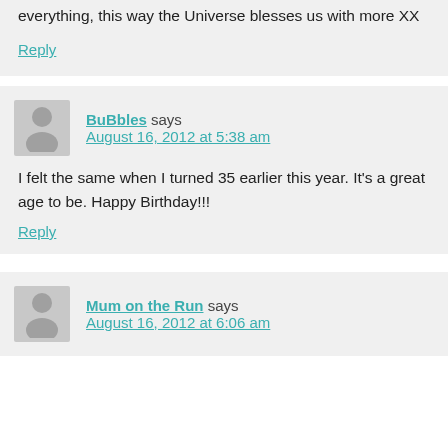everything, this way the Universe blesses us with more XX
Reply
BuBbles says
August 16, 2012 at 5:38 am
I felt the same when I turned 35 earlier this year. It's a great age to be. Happy Birthday!!!
Reply
Mum on the Run says
August 16, 2012 at 6:06 am